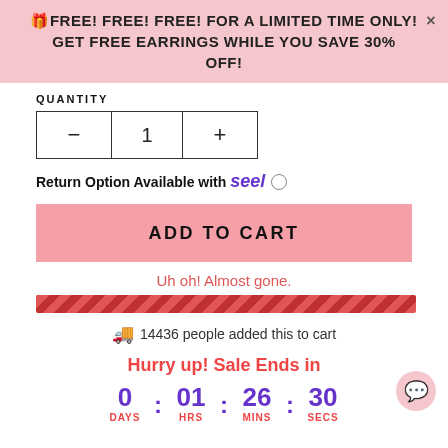🎁FREE! FREE! FREE! FOR A LIMITED TIME ONLY! × GET FREE EARRINGS WHILE YOU SAVE 30% OFF!
QUANTITY
— 1 +
Return Option Available with seel ○
ADD TO CART
Uh oh! Almost gone.
🚚 14436 people added this to cart
Hurry up! Sale Ends in
0 : 01 : 26 : 30 DAYS HRS MINS SECS